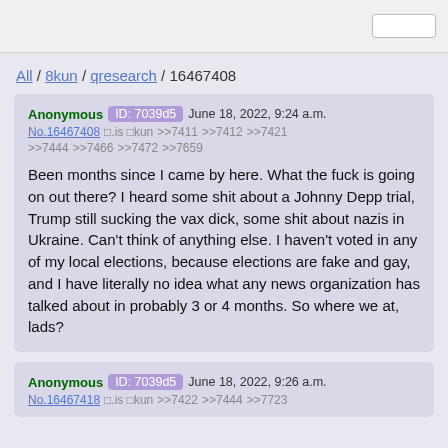All / 8kun / qresearch / 16467408
Anonymous ID: 7039d5 June 18, 2022, 9:24 a.m.
No.16467408 □.is □kun >>7411 >>7412 >>7421 >>7444 >>7466 >>7472 >>7659

Been months since I came by here. What the fuck is going on out there? I heard some shit about a Johnny Depp trial, Trump still sucking the vax dick, some shit about nazis in Ukraine. Can't think of anything else. I haven't voted in any of my local elections, because elections are fake and gay, and I have literally no idea what any news organization has talked about in probably 3 or 4 months. So where we at, lads?
Anonymous ID: 7039d5 June 18, 2022, 9:26 a.m.
No.16467418 □.is □kun >>7422 >>7444 >>7723